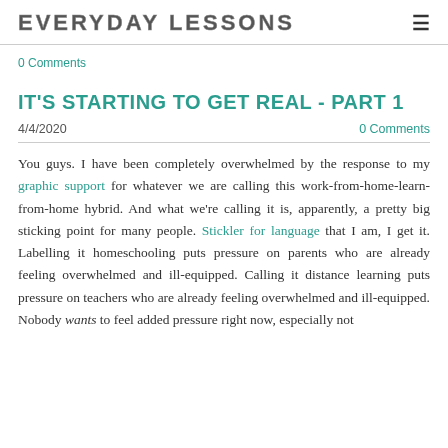EVERYDAY LESSONS
0 Comments
IT'S STARTING TO GET REAL - PART 1
4/4/2020    0 Comments
You guys. I have been completely overwhelmed by the response to my graphic support for whatever we are calling this work-from-home-learn-from-home hybrid. And what we're calling it is, apparently, a pretty big sticking point for many people. Stickler for language that I am, I get it. Labelling it homeschooling puts pressure on parents who are already feeling overwhelmed and ill-equipped. Calling it distance learning puts pressure on teachers who are already feeling overwhelmed and ill-equipped. Nobody wants to feel added pressure right now, especially not